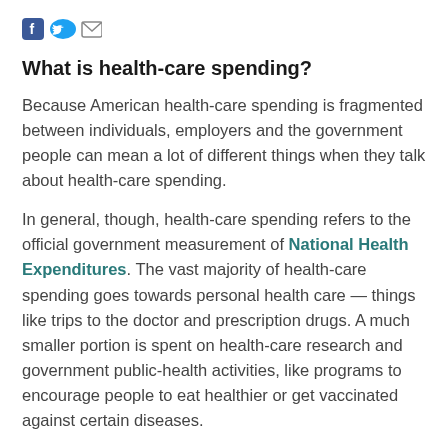[Figure (other): Social media sharing icons: Facebook (blue f), Twitter (blue bird), and email/envelope icon]
What is health-care spending?
Because American health-care spending is fragmented between individuals, employers and the government people can mean a lot of different things when they talk about health-care spending.
In general, though, health-care spending refers to the official government measurement of National Health Expenditures. The vast majority of health-care spending goes towards personal health care — things like trips to the doctor and prescription drugs. A much smaller portion is spent on health-care research and government public-health activities, like programs to encourage people to eat healthier or get vaccinated against certain diseases.